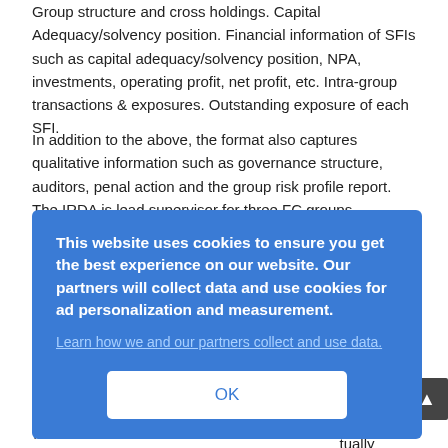Group structure and cross holdings. Capital Adequacy/solvency position. Financial information of SFIs such as capital adequacy/solvency position, NPA, investments, operating profit, net profit, etc. Intra-group transactions & exposures. Outstanding exposure of each SFI.
In addition to the above, the format also captures qualitative information such as governance structure, auditors, penal action and the group risk profile report. The IRDA is lead supervisor for three FC groups (including LIC). Reports are prepared quarterly by the Finance and Investment (FI) department. Meeting with the insurance companies are...thly, ...rting ...are ...ure ...of ...is ...cit ...tually
[Figure (screenshot): Cookie consent modal overlay with blue background. Text: 'This website uses cookies to ensure you get the best experience on our website. Our partners will collect data and use cookies for ad personalization and measurement.' Link: 'Learn how we and our partners collect and use data.' OK button in white.]
...ous ...group
74